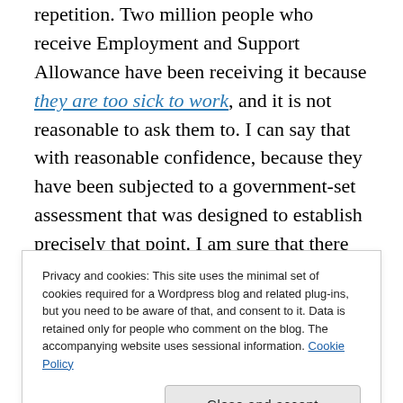repetition. Two million people who receive Employment and Support Allowance have been receiving it because they are too sick to work, and it is not reasonable to ask them to. I can say that with reasonable confidence, because they have been subjected to a government-set assessment that was designed to establish precisely that point. I am sure that there will be those in government who will say, 'ah yes, but they are still capable of work-related activity'. They may be, or may not, but there has
Privacy and cookies: This site uses the minimal set of cookies required for a Wordpress blog and related plug-ins, but you need to be aware of that, and consent to it. Data is retained only for people who comment on the blog. The accompanying website uses sessional information. Cookie Policy
Close and accept
work-related activity. So they may not to do this, and like most situations